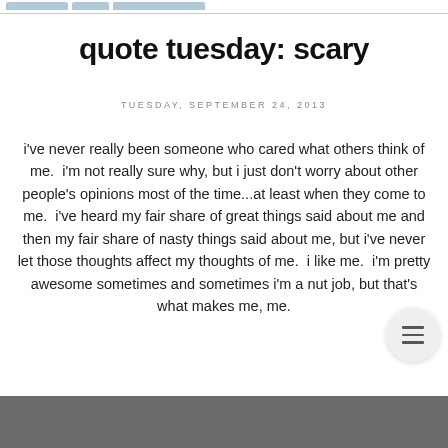quote tuesday: scary
TUESDAY, SEPTEMBER 24, 2013
i've never really been someone who cared what others think of me.  i'm not really sure why, but i just don't worry about other people's opinions most of the time...at least when they come to me.  i've heard my fair share of great things said about me and then my fair share of nasty things said about me, but i've never let those thoughts affect my thoughts of me.  i like me.  i'm pretty awesome sometimes and sometimes i'm a nut job, but that's what makes me, me.
[Figure (photo): Dark grey/charcoal image at the bottom of the page, partially visible]